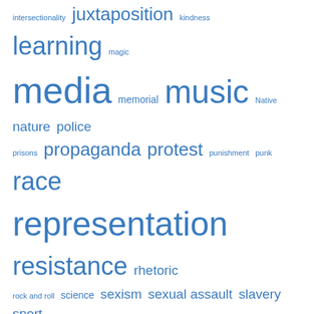[Figure (other): Tag cloud with words of varying sizes in blue, including: intersectionality, juxtaposition, kindness, learning, magic, media, memorial, music, Native, nature, police, prisons, propaganda, protest, punishment, punk, race, representation, resistance, rhetoric, rock and roll, science, sexism, sexual assault, slavery, sport, Surveillance, technology, vegetarian, vulnerability]
Search
Popular selections from the archives:
About the life of refinement